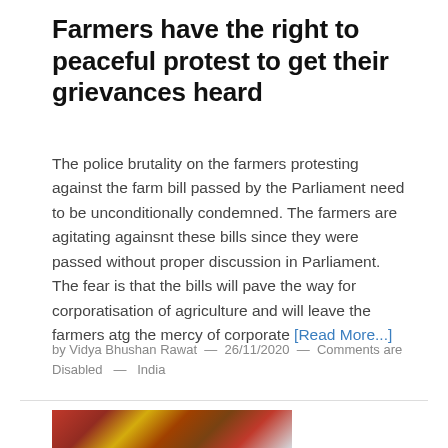Farmers have the right to peaceful protest to get their grievances heard
The police brutality on the farmers protesting against the farm bill passed by the Parliament need to be unconditionally condemned. The farmers are agitating againsnt these bills since they were passed without proper discussion in Parliament. The fear is that the bills will pave the way for corporatisation of agriculture and will leave the farmers atg the mercy of corporate [Read More...]
by Vidya Bhushan Rawat  —  26/11/2020  —  Comments are Disabled  —  India
[Figure (photo): Partial image of a woman in traditional Indian bridal attire showing hands with bangles and decorated clothing in red and gold colors]